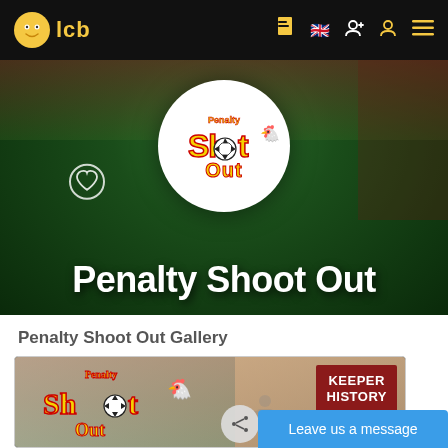lcb
[Figure (screenshot): Hero banner with Penalty Shoot Out game logo in white circle on green/dark background, with heart/favorite icon to the left]
Penalty Shoot Out
Penalty Shoot Out Gallery
[Figure (screenshot): Penalty Shoot Out game screenshot showing game logo on left and KEEPER HISTORY button on right with crowd background]
Leave us a message